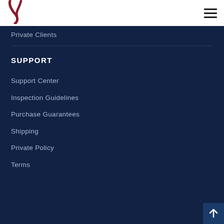[Figure (logo): Dark red/maroon stylized V or checkmark logo mark]
Private Clients
SUPPORT
Support Center
Inspection Guidelines
Purchase Guarantees
Shipping
Private Policy
Terms